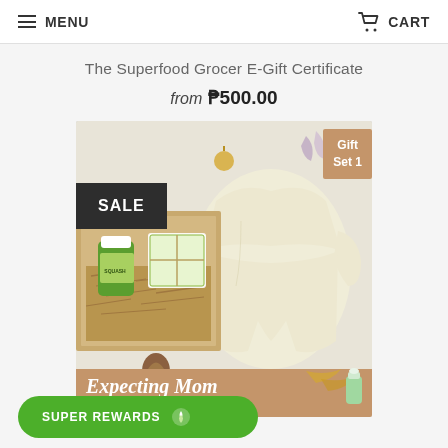MENU  CART
The Superfood Grocer E-Gift Certificate
from ₱500.00
[Figure (photo): Gift set photo showing a kraft box with a green supplement bottle and wrapped gift inside, a cream-colored baby sleepsuit laid flat on a white background, pine cones and greenery decorating the scene. A dark badge reads SALE. A tan badge reads Gift Set 1. Bottom overlay reads Expecting Mom with subtitle text about Patrick Sleepsuit, Box & Card.]
SUPER REWARDS